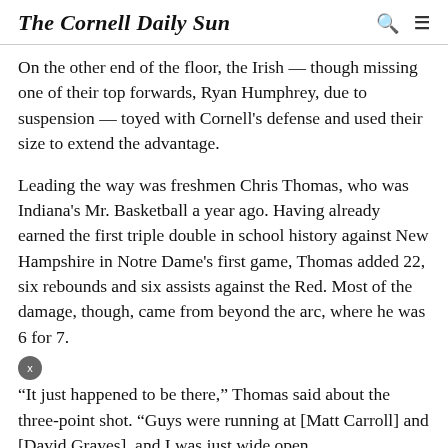The Cornell Daily Sun
On the other end of the floor, the Irish — though missing one of their top forwards, Ryan Humphrey, due to suspension — toyed with Cornell's defense and used their size to extend the advantage.
Leading the way was freshmen Chris Thomas, who was Indiana's Mr. Basketball a year ago. Having already earned the first triple double in school history against New Hampshire in Notre Dame's first game, Thomas added 22, six rebounds and six assists against the Red. Most of the damage, though, came from beyond the arc, where he was 6 for 7.
“It just happened to be there,” Thomas said about the three-point shot. “Guys were running at [Matt Carroll] and [David Graves], and I was just wide open.